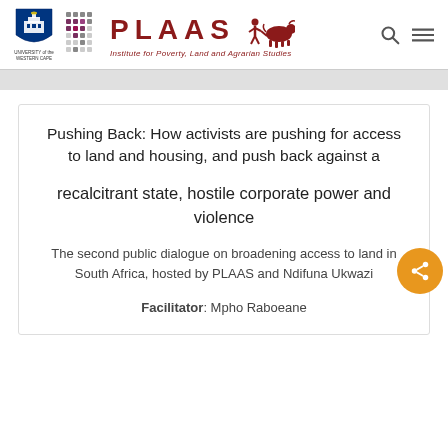PLAAS — Institute for Poverty, Land and Agrarian Studies
Pushing Back: How activists are pushing for access to land and housing, and push back against a recalcitrant state, hostile corporate power and violence
The second public dialogue on broadening access to land in South Africa, hosted by PLAAS and Ndifuna Ukwazi
Facilitator: Mpho Raboeane